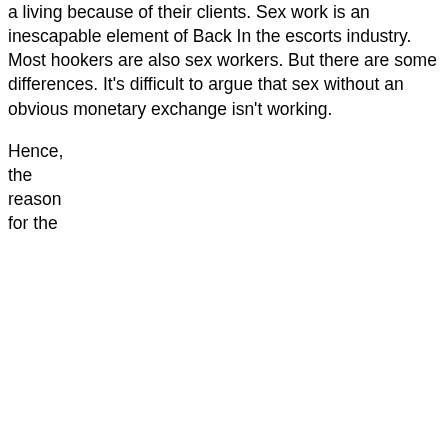a living because of their clients. Sex work is an inescapable element of Back In the escorts industry. Most hookers are also sex workers. But there are some differences. It's difficult to argue that sex without an obvious monetary exchange isn't working.
Hence,
the
reason
for the